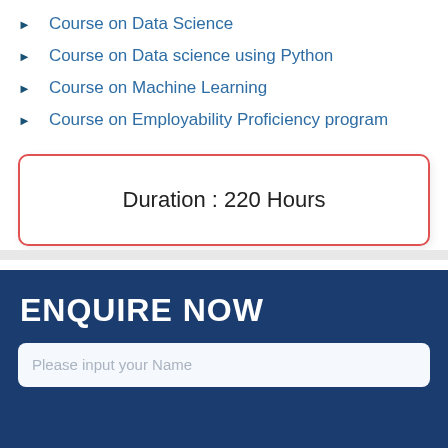Course on Data Science
Course on Data science using Python
Course on Machine Learning
Course on Employability Proficiency program
Duration : 220 Hours
ENQUIRE NOW
Please input your Name